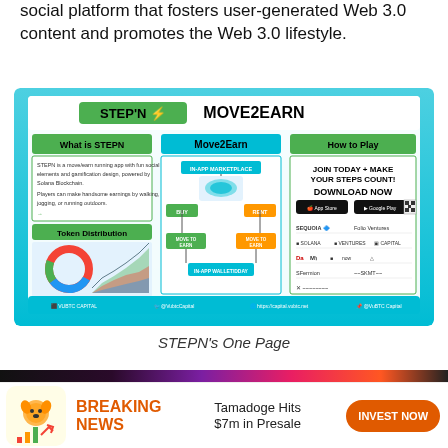social platform that fosters user-generated Web 3.0 content and promotes the Web 3.0 lifestyle.
[Figure (infographic): STEPN MOVE2EARN infographic showing: What is STEPN description, Move2Earn flowchart with in-app marketplace, buy/rent/move-to-earn sections, in-app wallet/DDAY, How to Play section with download links for App Store and Google Play, Token Distribution with donut chart and area chart, investor logos including Sequoia, Folio Ventures, Solana Ventures, and others.]
STEPN's One Page
[Figure (infographic): Breaking news advertisement banner for Tamadoge with orange dog mascot logo, bar chart graphic, text 'BREAKING NEWS Tamadoge Hits $7m in Presale' and orange 'INVEST NOW' button]